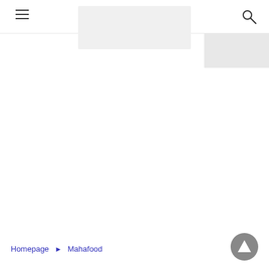[Figure (screenshot): Hamburger menu icon (three horizontal lines) in top-left corner of navigation bar]
[Figure (screenshot): Logo/banner placeholder area — light gray rectangle in the center of the navigation bar]
[Figure (screenshot): Search icon (magnifying glass) in top-right corner of navigation bar]
Homepage ► Mahafood